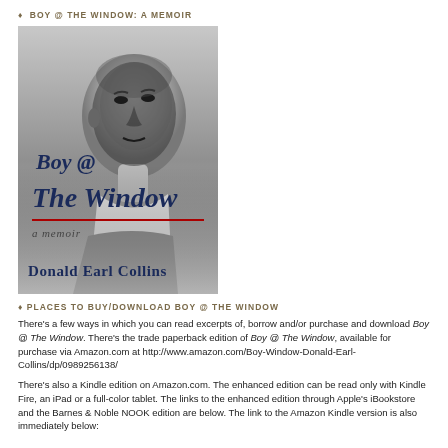♦ BOY @ THE WINDOW: A MEMOIR
[Figure (photo): Book cover for Boy @ The Window: A Memoir by Donald Earl Collins. Black and white photo of a young Black boy on the cover. Title text 'Boy @ The Window' in dark blue serif italic font with a red underline rule. Subtitle 'A Memoir' in italic. Author name 'Donald Earl Collins' at the bottom.]
♦ PLACES TO BUY/DOWNLOAD BOY @ THE WINDOW
There's a few ways in which you can read excerpts of, borrow and/or purchase and download Boy @ The Window. There's the trade paperback edition of Boy @ The Window, available for purchase via Amazon.com at http://www.amazon.com/Boy-Window-Donald-Earl-Collins/dp/0989256138/
There's also a Kindle edition on Amazon.com. The enhanced edition can be read only with Kindle Fire, an iPad or a full-color tablet. The links to the enhanced edition through Apple's iBookstore and the Barnes & Noble NOOK edition are below. The link to the Amazon Kindle version is also immediately below: